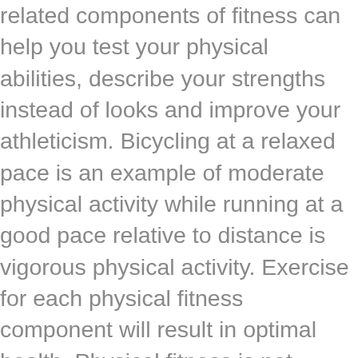related components of fitness can help you test your physical abilities, describe your strengths instead of looks and improve your athleticism. Bicycling at a relaxed pace is an example of moderate physical activity while running at a good pace relative to distance is vigorous physical activity. Exercise for each physical fitness component will result in optimal health. Physical fitness is not limited to a lean or buff appearance. Agility is a skill-related component of physical fitness. 9. Components of Physical Fitness. Physical fitness is not just bending our body. Physical fitness components examples . #2 – Cycling . There are 11 components of physical fitness. By looking at the individual components of physical fitness, we can get a better picture of what physically fit means in terms of how to identify it, measure it, and assert its significance. Fitness components are targeting two or more body parts to improve them. However, everyone should